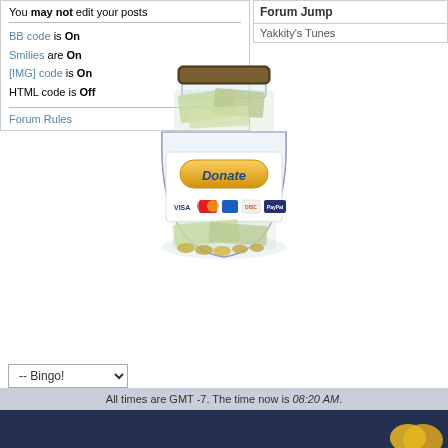You may not edit your posts
BB code is On
Smilies are On
[IMG] code is On
HTML code is Off
Forum Rules
Forum Jump
Yakkity's Tunes
[Figure (illustration): A glass jar filled with cash and coins, with a white label showing a golden Donate button and payment card logos (VISA, MasterCard, American Express, Discover, PayPal)]
-- Bingo!
All times are GMT -7. The time now is 08:20 AM.